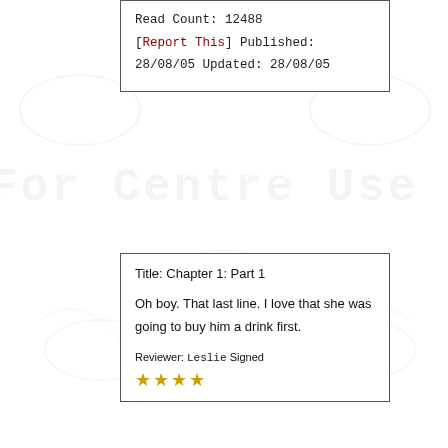Read Count: 12488
[Report This] Published: 28/08/05 Updated: 28/08/05
[Figure (illustration): Faint watermark background showing decorative wing/animal motifs and large text 'For Centre Use Only']
Title: Chapter 1: Part 1

Oh boy. That last line. I love that she was going to buy him a drink first.

Reviewer: Leslie Signed
★★★★★